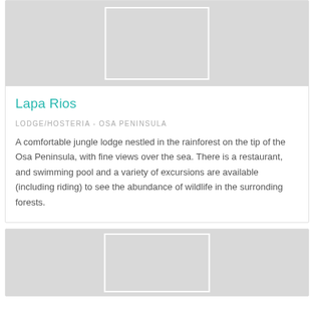[Figure (photo): Placeholder image area for Lapa Rios lodge, gray background with white-bordered inner rectangle]
Lapa Rios
LODGE/HOSTERIA - OSA PENINSULA
A comfortable jungle lodge nestled in the rainforest on the tip of the Osa Peninsula, with fine views over the sea. There is a restaurant, and swimming pool and a variety of excursions are available (including riding) to see the abundance of wildlife in the surronding forests.
[Figure (photo): Placeholder image area for a second lodge listing, gray background with white-bordered inner rectangle]